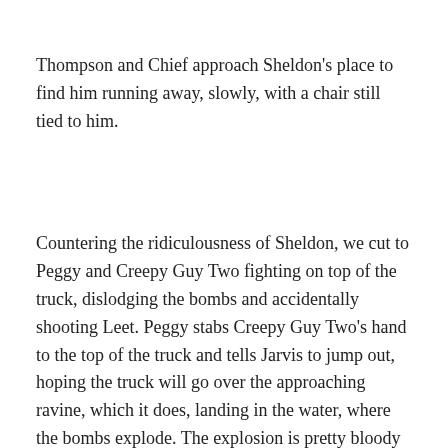Thompson and Chief approach Sheldon's place to find him running away, slowly, with a chair still tied to him.
Countering the ridiculousness of Sheldon, we cut to Peggy and Creepy Guy Two fighting on top of the truck, dislodging the bombs and accidentally shooting Leet. Peggy stabs Creepy Guy Two's hand to the top of the truck and tells Jarvis to jump out, hoping the truck will go over the approaching ravine, which it does, landing in the water, where the bombs explode. The explosion is pretty bloody huge, but because it's in the water neither Peggy or Jarvis are hurt, although Leet is dying and unwilling to give